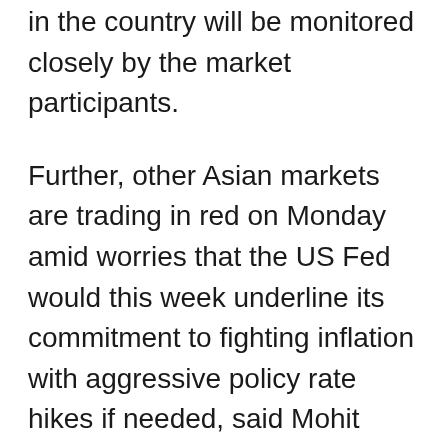in the country will be monitored closely by the market participants.
Further, other Asian markets are trading in red on Monday amid worries that the US Fed would this week underline its commitment to fighting inflation with aggressive policy rate hikes if needed, said Mohit Nigam, Head - PMS at Hem Securities.
Last week, Indian domestic equity benchmark indices closed on a negative note. Domestic equity benchmark indices are likely to trade with a downside bias this week as the